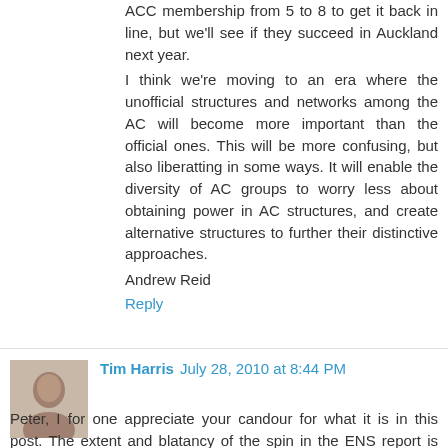ACC membership from 5 to 8 to get it back in line, but we'll see if they succeed in Auckland next year.
I think we're moving to an era where the unofficial structures and networks among the AC will become more important than the official ones. This will be more confusing, but also liberatting in some ways. It will enable the diversity of AC groups to worry less about obtaining power in AC structures, and create alternative structures to further their distinctive approaches.
Andrew Reid
Reply
Tim Harris  July 28, 2010 at 8:44 PM
Peter, I for one appreciate your candour for what it is in this post. The extent and blatancy of the spin in the ENS report is sickening. Far from Howard's benign (and patronising!) allusion to children refusing to come to the dinner table, what we are witnessing here is Machiavellian politicking of the first order. The manipulation of Communion Instruments in the interest of holding as much power and control as possible is outrageous. Jan Douglas has it half